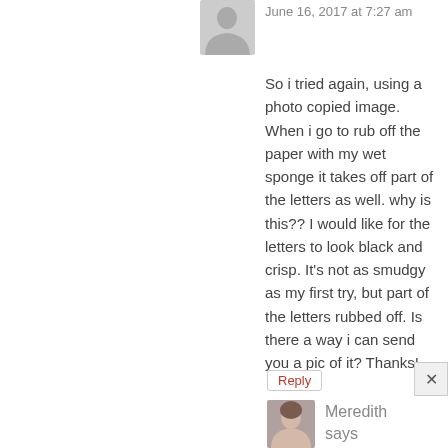[Figure (illustration): Anonymous user avatar (grey silhouette icon) at top]
June 16, 2017 at 7:27 am
So i tried again, using a photo copied image. When i go to rub off the paper with my wet sponge it takes off part of the letters as well. why is this?? I would like for the letters to look black and crisp. It's not as smudgy as my first try, but part of the letters rubbed off. Is there a way i can send you a pic of it? Thanks!
Reply
[Figure (photo): Small circular/square avatar photo of Meredith]
Meredith says